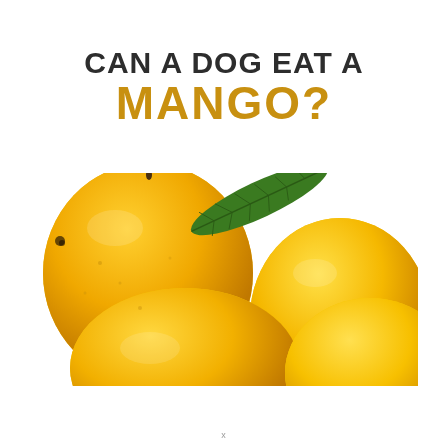[Figure (illustration): Promotional image asking 'Can a dog eat a mango?' with bold text header above a photo-realistic illustration of several ripe yellow mangoes with a green mango leaf, on a white background.]
x